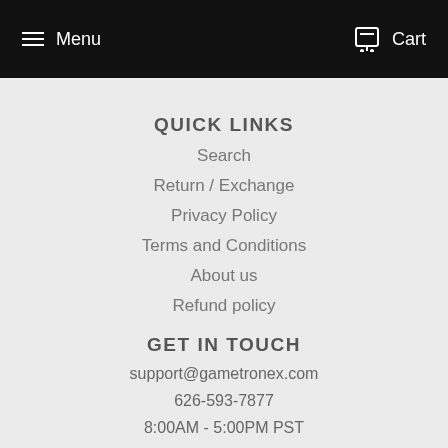Menu  Cart
QUICK LINKS
Search
Return / Exchange
Privacy Policy
Terms and Conditions
About us
Refund policy
GET IN TOUCH
support@gametronex.com
626-593-7877
8:00AM - 5:00PM PST
NEWSLETTER